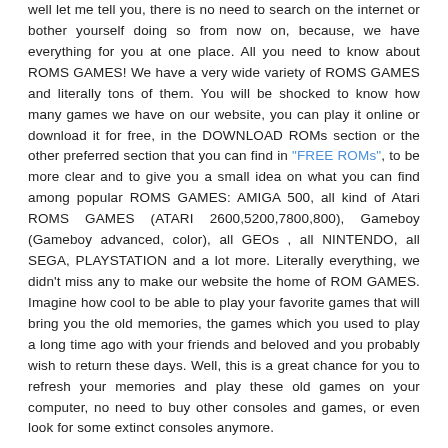well let me tell you, there is no need to search on the internet or bother yourself doing so from now on, because, we have everything for you at one place. All you need to know about ROMS GAMES! We have a very wide variety of ROMS GAMES and literally tons of them. You will be shocked to know how many games we have on our website, you can play it online or download it for free, in the DOWNLOAD ROMs section or the other preferred section that you can find in "FREE ROMs", to be more clear and to give you a small idea on what you can find among popular ROMS GAMES: AMIGA 500, all kind of Atari ROMS GAMES (ATARI 2600,5200,7800,800), Gameboy (Gameboy advanced, color), all GEOs , all NINTENDO, all SEGA, PLAYSTATION and a lot more. Literally everything, we didn't miss any to make our website the home of ROM GAMES. Imagine how cool to be able to play your favorite games that will bring you the old memories, the games which you used to play a long time ago with your friends and beloved and you probably wish to return these days. Well, this is a great chance for you to refresh your memories and play these old games on your computer, no need to buy other consoles and games, or even look for some extinct consoles anymore.
ROMS GAMES DOWNLOAD